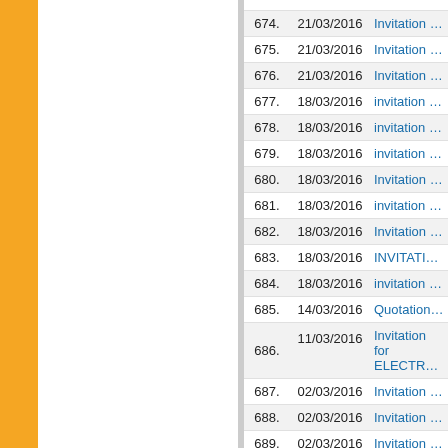| # | Date | Description |
| --- | --- | --- |
| 674. | 21/03/2016 | Invitation for… |
| 675. | 21/03/2016 | Invitation for… |
| 676. | 21/03/2016 | Invitation for… |
| 677. | 18/03/2016 | invitation of o… |
| 678. | 18/03/2016 | invitation of o… |
| 679. | 18/03/2016 | invitation of o… |
| 680. | 18/03/2016 | Invitation of o… |
| 681. | 18/03/2016 | invitation of o… |
| 682. | 18/03/2016 | Invitation of o… |
| 683. | 18/03/2016 | INVITATION… |
| 684. | 18/03/2016 | invitation of o… |
| 685. | 14/03/2016 | Quotations fo… |
| 686. | 11/03/2016 | Invitation for… ELECTROD… |
| 687. | 02/03/2016 | Invitation lett… |
| 688. | 02/03/2016 | Invitation lett… |
| 689. | 02/03/2016 | Invitation lett… |